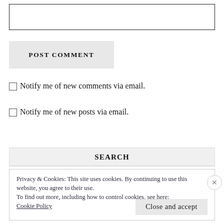[Figure (other): Text input box (comment field)]
POST COMMENT
Notify me of new comments via email.
Notify me of new posts via email.
SEARCH
Privacy & Cookies: This site uses cookies. By continuing to use this website, you agree to their use.
To find out more, including how to control cookies, see here: Cookie Policy
Close and accept